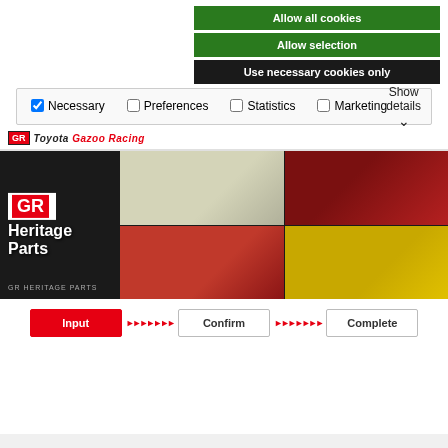Allow all cookies
Allow selection
Use necessary cookies only
Necessary  Preferences  Statistics  Marketing  Show details
[Figure (screenshot): Toyota Gazoo Racing GR Heritage Parts website hero banner showing four classic cars: white sports car (top left), red Supra/sports car (top right), red AE86 Levin (bottom left), yellow Land Cruiser (bottom right). GR Heritage Parts logo on left side. Footer text: GR HERITAGE PARTS.]
Input  ► ► ► ► ► ► ►  Confirm  ► ► ► ► ► ► ►  Complete